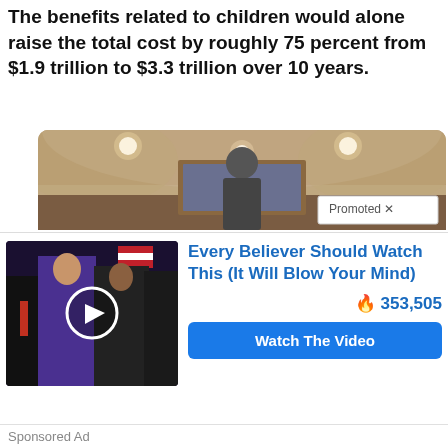The benefits related to children would alone raise the total cost by roughly 75 percent from $1.9 trillion to $3.3 trillion over 10 years.
[Figure (photo): Photo of a political figure at a podium in a formal room with ceiling lights and a painting in background, with a 'Promoted X' badge overlay]
[Figure (photo): Thumbnail video of political figures with play button circle overlay]
Every Believer Should Watch This (It Will Blow Your Mind)
353,505
Watch The Video
Sponsored Ad